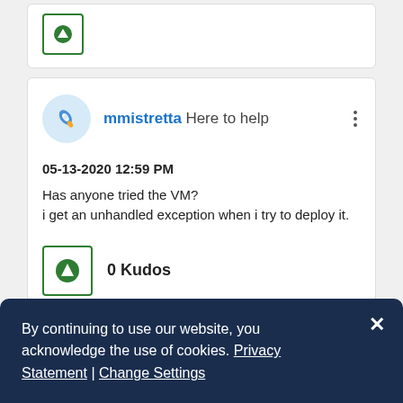[Figure (screenshot): Partial forum post card showing a green upvote button at the top]
mmistretta Here to help
05-13-2020 12:59 PM
Has anyone tried the VM?
i get an unhandled exception when i try to deploy it.
0 Kudos
[Figure (screenshot): Partial bottom forum post card, partially visible]
By continuing to use our website, you acknowledge the use of cookies. Privacy Statement | Change Settings